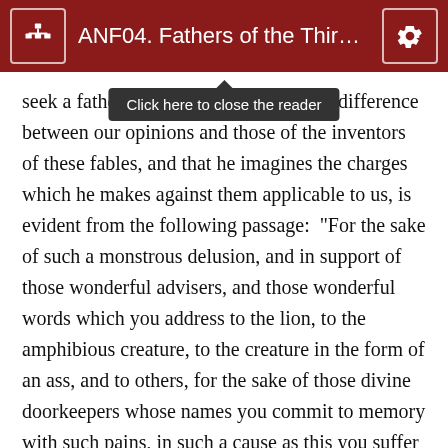ANF04. Fathers of the Third C…
seek a father… is ignorant of the wide difference between our opinions and those of the inventors of these fables, and that he imagines the charges which he makes against them applicable to us, is evident from the following passage:  “For the sake of such a monstrous delusion, and in support of those wonderful advisers, and those wonderful words which you address to the lion, to the amphibious creature, to the creature in the form of an ass, and to others, for the sake of those divine doorkeepers whose names you commit to memory with such pains, in such a cause as this you suffer cruel tortures, and perish at